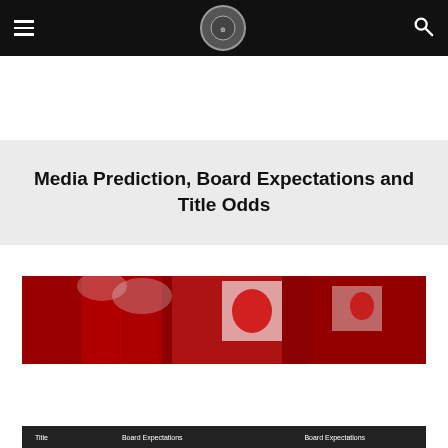Navigation bar with hamburger menu, logo, and search icon
Media Prediction, Board Expectations and Title Odds
[Figure (photo): Crowd of fans waving Canadian flags (red and white maple leaf flags) with red smoke flares, celebrating at a sports event]
| Title | Board Expectations | Board Expectations |
| --- | --- | --- |